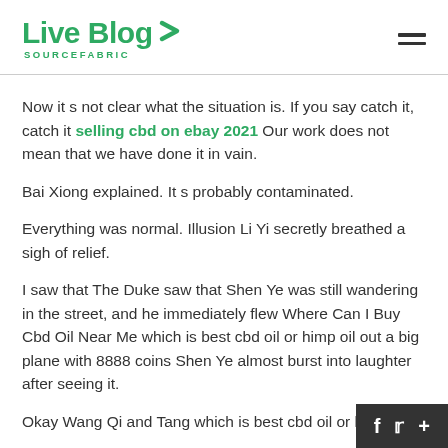Live Blog SOURCEFABRIC
Now it s not clear what the situation is. If you say catch it, catch it selling cbd on ebay 2021 Our work does not mean that we have done it in vain.
Bai Xiong explained. It s probably contaminated.
Everything was normal. Illusion Li Yi secretly breathed a sigh of relief.
I saw that The Duke saw that Shen Ye was still wandering in the street, and he immediately flew Where Can I Buy Cbd Oil Near Me which is best cbd oil or himp oil out a big plane with 8888 coins Shen Ye almost burst into laughter after seeing it.
Okay Wang Qi and Tang which is best cbd oil or h